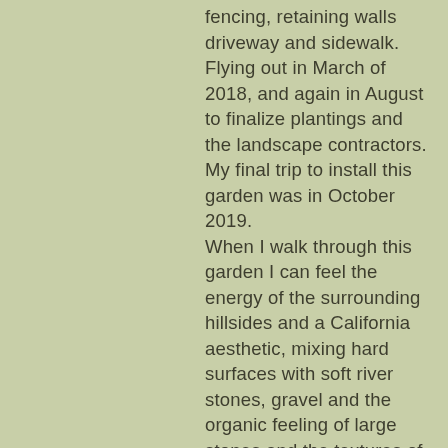fencing, retaining walls driveway and sidewalk. Flying out in March of 2018, and again in August to finalize plantings and the landscape contractors. My final trip to install this garden was in October 2019. When I walk through this garden I can feel the energy of the surrounding hillsides and a California aesthetic, mixing hard surfaces with soft river stones, gravel and the organic feeling of large stones and the textures of the leaves in the trees and plants of our palette. Alchemy is already happening. Pollinators showed up the moment we unloaded the trucks of our native plants.